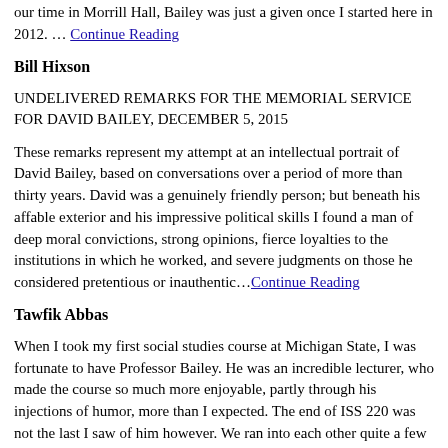our time in Morrill Hall, Bailey was just a given once I started here in 2012. … Continue Reading
Bill Hixson
UNDELIVERED REMARKS FOR THE MEMORIAL SERVICE FOR DAVID BAILEY, DECEMBER 5, 2015
These remarks represent my attempt at an intellectual portrait of David Bailey, based on conversations over a period of more than thirty years. David was a genuinely friendly person; but beneath his affable exterior and his impressive political skills I found a man of deep moral convictions, strong opinions, fierce loyalties to the institutions in which he worked, and severe judgments on those he considered pretentious or inauthentic…Continue Reading
Tawfik Abbas
When I took my first social studies course at Michigan State, I was fortunate to have Professor Bailey. He was an incredible lecturer, who made the course so much more enjoyable, partly through his injections of humor, more than I expected. The end of ISS 220 was not the last I saw of him however. We ran into each other quite a few times at Brody dining hall, where I would stop and converse with him. He was an incredible professor that I greatly admired